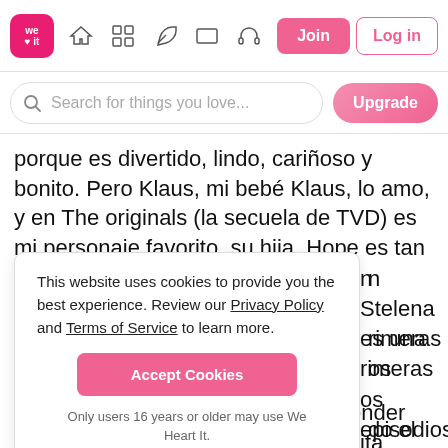We Heart It — navigation bar with logo, icons, Join and Log in buttons
Search for things you love...
porque es divertido, lindo, cariñoso y bonito. Pero Klaus, mi bebé Klaus, lo amo, y en The originals (la secuela de TVD) es mi personaje favorito, su hija, Hope es tan linda y la amo. Hablando de TVD, mi pareja favorita es
n Stelena es una primeras os episodios do el diablo, creo tan apto para el ue es una mala onajes en este tan un personaje que odio, sería Matt, no puedo entender cómo Matt es un gran traidor, se quita todos los vampiros de Mystic Falls y en el principio de la serie, no me gustaba Matt
This website uses cookies to provide you the best experience. Review our Privacy Policy and Terms of Service to learn more.
Accept Cookies
Only users 16 years or older may use We Heart It.